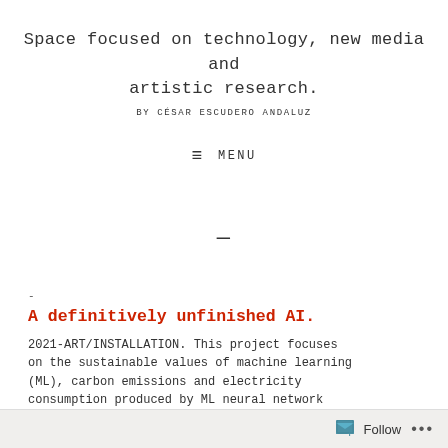Space focused on technology, new media and artistic research.
BY CÉSAR ESCUDERO ANDALUZ
≡ MENU
—
-
A definitively unfinished AI.
2021-ART/INSTALLATION. This project focuses on the sustainable values of machine learning (ML), carbon emissions and electricity consumption produced by ML neural network
Follow ...